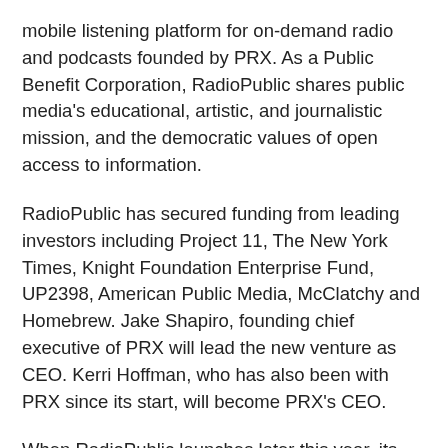mobile listening platform for on-demand radio and podcasts founded by PRX. As a Public Benefit Corporation, RadioPublic shares public media's educational, artistic, and journalistic mission, and the democratic values of open access to information.
RadioPublic has secured funding from leading investors including Project 11, The New York Times, Knight Foundation Enterprise Fund, UP2398, American Public Media, McClatchy and Homebrew. Jake Shapiro, founding chief executive of PRX will lead the new venture as CEO. Kerri Hoffman, who has also been with PRX since its start, will become PRX's CEO.
When RadioPublic launches later this year, its listeners will have access to top podcasts as well as PRX's full catalog, including The Moth Radio Hour,